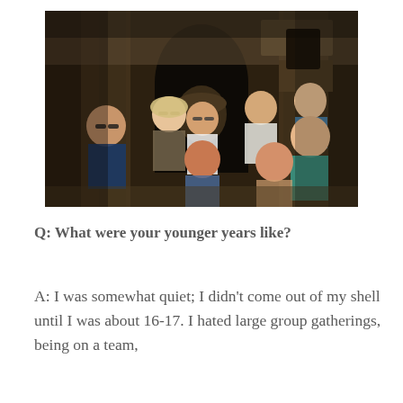[Figure (photo): Group of young people (approximately 8 individuals) sitting and posing inside or in front of an ancient stone structure with arched/carved stonework. The people are dressed casually, several wearing sunglasses, smiling at the camera.]
Q: What were your younger years like?
A: I was somewhat quiet; I didn't come out of my shell until I was about 16-17. I hated large group gatherings, being on a team,